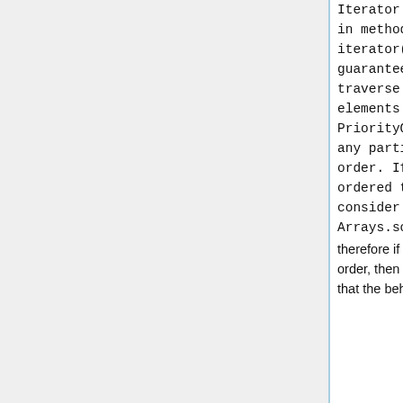Iterator provided in method iterator() is not guaranteed to traverse the elements of the PriorityQueue in any particular order. If you need ordered traversal, consider using Arrays.sort(pq.toArray() therefore if Simonton's tree is currently returning in descending order, then it just happens that your JVM does that. This means that the behaviour of versions of Shadow